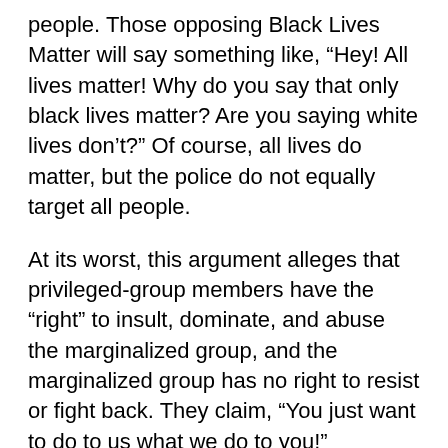people. Those opposing Black Lives Matter will say something like, “Hey! All lives matter! Why do you say that only black lives matter? Are you saying white lives don’t?” Of course, all lives do matter, but the police do not equally target all people.
At its worst, this argument alleges that privileged-group members have the “right” to insult, dominate, and abuse the marginalized group, and the marginalized group has no right to resist or fight back. They claim, “You just want to do to us what we do to you!”
Of course, all groups have extremists who do want to oppress others, but almost all of us fighting for human rights want equal rights for everybody. A